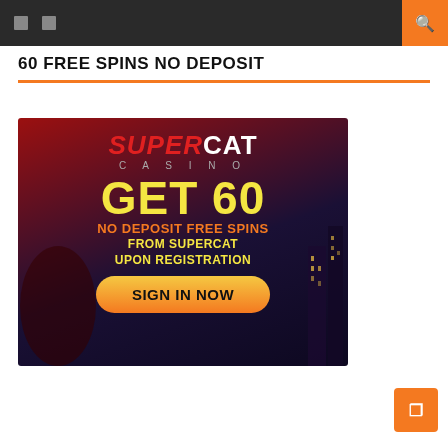Navigation bar with icons and search button
60 FREE SPINS NO DEPOSIT
[Figure (illustration): SuperCat Casino advertisement banner showing 'GET 60 NO DEPOSIT FREE SPINS FROM SUPERCAT UPON REGISTRATION' with a yellow SIGN IN NOW button, dark red/purple background with city skyline silhouette]